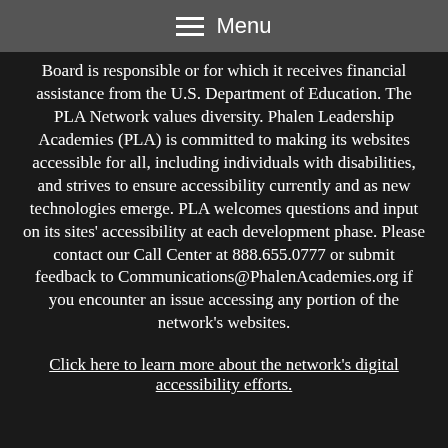Menu
Board is responsible or for which it receives financial assistance from the U.S. Department of Education. The PLA Network values diversity. Phalen Leadership Academies (PLA) is committed to making its websites accessible for all, including individuals with disabilities, and strives to ensure accessibility currently and as new technologies emerge. PLA welcomes questions and input on its sites' accessibility at each development phase. Please contact our Call Center at 888.655.0777 or submit feedback to Communications@PhalenAcademies.org if you encounter an issue accessing any portion of the network's websites.
Click here to learn more about the network's digital accessibility efforts.